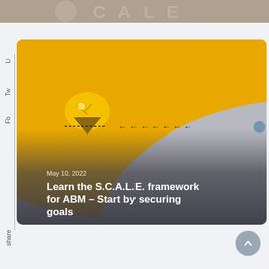[Figure (photo): Top banner with faded large text letters on brownish background, partially cropped]
[Figure (photo): Card image showing a yellow/orange curved background with a crumpled paper lightbulb and black arrows pointing left, over a grey lower section]
May 10, 2022
Learn the S.C.A.L.E. framework for ABM – Start by securing goals
Li
Tw
Fb
share